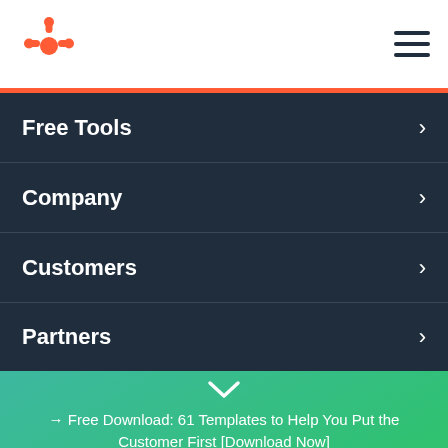[Figure (logo): HubSpot sprocket logo in orange]
[Figure (other): Hamburger menu icon (three horizontal lines)]
Free Tools
Company
Customers
Partners
[Figure (other): Chevron down arrow icon in white]
→ Free Download: 61 Templates to Help You Put the Customer First [Download Now]
Get it now